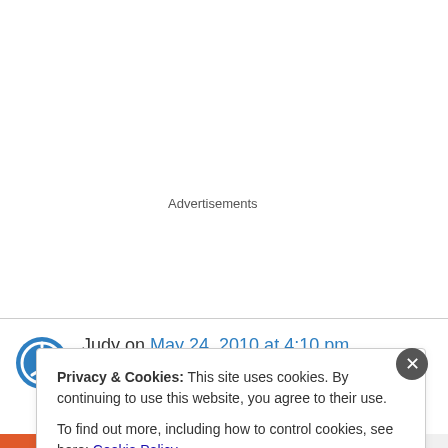Advertisements
Judy on May 24, 2010 at 4:10 pm
Privacy & Cookies: This site uses cookies. By continuing to use this website, you agree to their use.
To find out more, including how to control cookies, see here: Cookie Policy
Close and accept